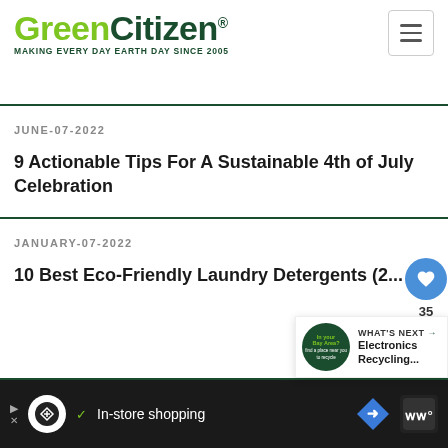GreenCitizen® MAKING EVERY DAY EARTH DAY SINCE 2005
(partial heading text, truncated)
JUNE-07-2022
9 Actionable Tips For A Sustainable 4th of July Celebration
JANUARY-07-2022
10 Best Eco-Friendly Laundry Detergents (2...
WHAT'S NEXT → Electronics Recycling...
In-store shopping